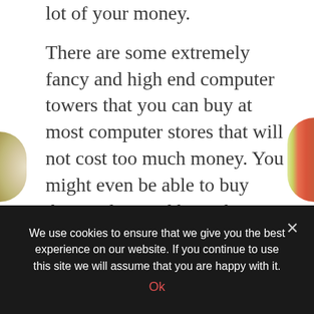lot of your money.
There are some extremely fancy and high end computer towers that you can buy at most computer stores that will not cost too much money. You might even be able to buy them online and have them delivered to your home. Do not rush in to your project, instead take your time and buy the best things and wait until you can afford to buy the next part instead of buying cheaper components that you can afford immediately. It is important for you to keep in mind that you are buying these things to last you a long time and when you invest all of your money in this project, you may not have a lot of money to invest on another one anytime
We use cookies to ensure that we give you the best experience on our website. If you continue to use this site we will assume that you are happy with it.
Ok